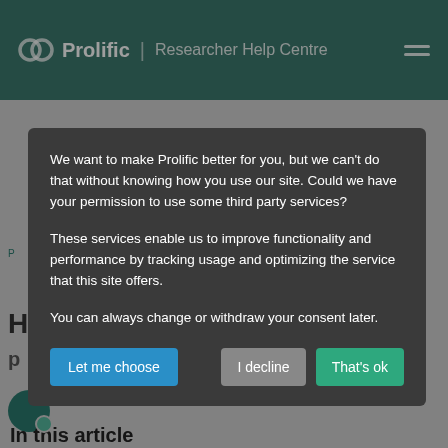Prolific | Researcher Help Centre
[Figure (screenshot): Cookie consent modal dialog on Prolific Researcher Help Centre website with three buttons: Let me choose, I decline, That's ok]
We want to make Prolific better for you, but we can't do that without knowing how you use our site. Could we have your permission to use some third party services?
These services enable us to improve functionality and performance by tracking usage and optimizing the service that this site offers.
You can always change or withdraw your consent later.
In this article